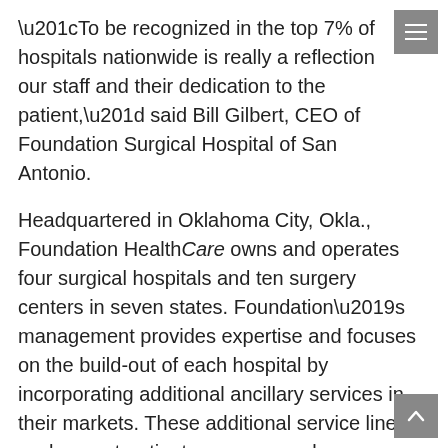“To be recognized in the top 7% of hospitals nationwide is really a reflection our staff and their dedication to the patient,” said Bill Gilbert, CEO of Foundation Surgical Hospital of San Antonio.
Headquartered in Oklahoma City, Okla., Foundation HealthCare owns and operates four surgical hospitals and ten surgery centers in seven states. Foundation’s management provides expertise and focuses on the build-out of each hospital by incorporating additional ancillary services in their markets. These additional service lines, such as out-patient surgery, oncology, imaging, physical therapy, hyperbarics, and sleep labs, truly make the Foundation specialty hospital environment unique.